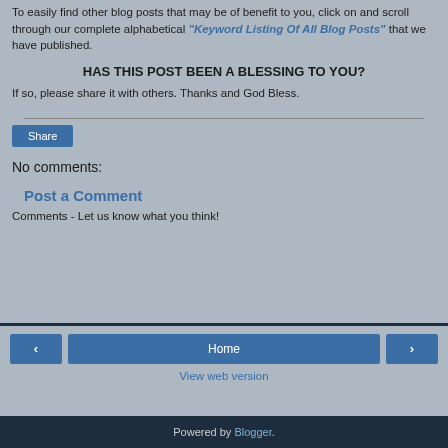To easily find other blog posts that may be of benefit to you, click on and scroll through our complete alphabetical "Keyword Listing Of All Blog Posts" that we have published.
HAS THIS POST BEEN A BLESSING TO YOU?
If so, please share it with others. Thanks and God Bless.
Share
No comments:
Post a Comment
Comments - Let us know what you think!
Home | < | > | View web version | Powered by Blogger.